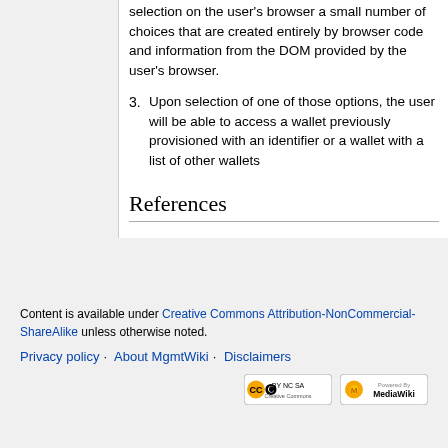selection on the user's browser a small number of choices that are created entirely by browser code and information from the DOM provided by the user's browser.
3. Upon selection of one of those options, the user will be able to access a wallet previously provisioned with an identifier or a wallet with a list of other wallets
References
Content is available under Creative Commons Attribution-NonCommercial-ShareAlike unless otherwise noted.
Privacy policy · About MgmtWiki · Disclaimers